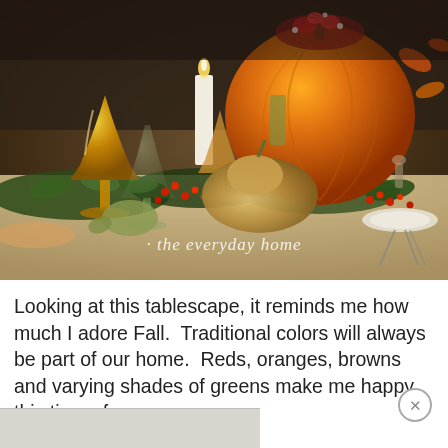[Figure (photo): A Thanksgiving/Fall tablescape featuring a large orange pumpkin with autumn floral arrangement on top, a butternut squash, amber/gold goblet glassware, a lit candle, red berries, green foliage garland, and plates with cutlery. The tablecloth has a diamond/geometric pattern. A watermark reads 'the everyday home' in italic script at the bottom of the image.]
Looking at this tablescape, it reminds me how much I adore Fall.  Traditional colors will always be part of our home.  Reds, oranges, browns and varying shades of greens make me happy this time of year.
[Figure (photo): Partial view of a second photo at the bottom of the page, showing a light gray/silver background scene, cropped.]